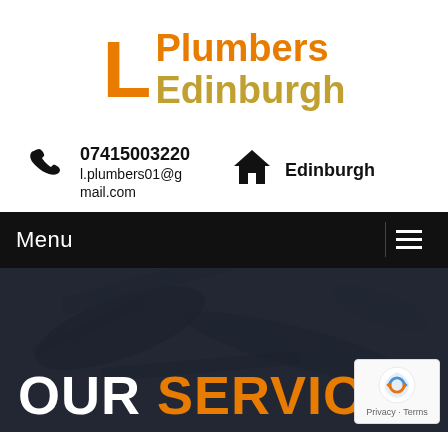[Figure (logo): L Plumbers Edinburgh logo: orange block letter L with 'Plumbers' in orange and 'Edinburgh' in gold/yellow]
07415003220
l.plumbers01@gmail.com
Edinburgh
Menu
OUR SERVICES